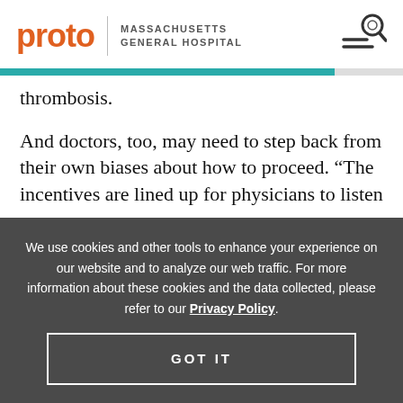proto | MASSACHUSETTS GENERAL HOSPITAL
thrombosis.
And doctors, too, may need to step back from their own biases about how to proceed. “The incentives are lined up for physicians to listen
We use cookies and other tools to enhance your experience on our website and to analyze our web traffic. For more information about these cookies and the data collected, please refer to our Privacy Policy.
GOT IT